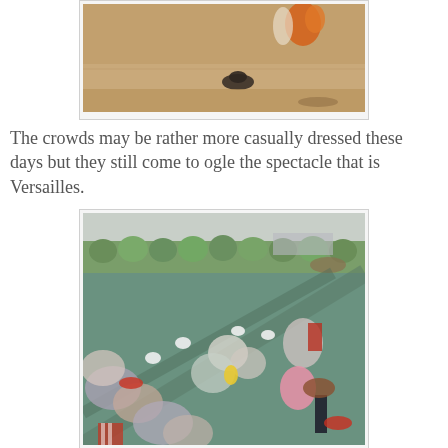[Figure (photo): Top portion of a painting showing figures in period dress in an outdoor setting with sandy/earthy ground]
The crowds may be rather more casually dressed these days but they still come to ogle the spectacle that is Versailles.
[Figure (photo): Painting depicting large crowds of people in 18th-century dress strolling in the gardens of Versailles, with trees and a bridge visible in the background, diagonal pathways crossing the composition]